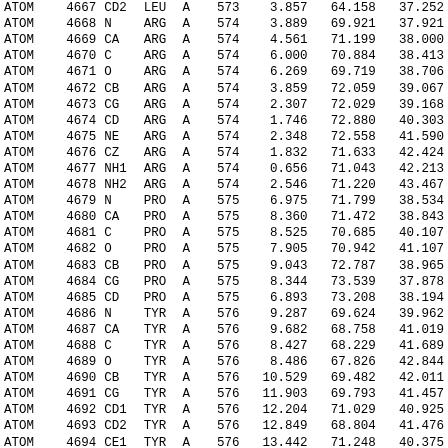| type | serial | name | res | chain | seq | x | y | z |
| --- | --- | --- | --- | --- | --- | --- | --- | --- |
| ATOM | 4667 | CD2 | LEU | A | 573 | 3.857 | 64.158 | 37.252 |
| ATOM | 4668 | N | ARG | A | 574 | 3.889 | 69.921 | 37.921 |
| ATOM | 4669 | CA | ARG | A | 574 | 4.561 | 71.199 | 38.000 |
| ATOM | 4670 | C | ARG | A | 574 | 6.000 | 70.884 | 38.413 |
| ATOM | 4671 | O | ARG | A | 574 | 6.269 | 69.719 | 38.706 |
| ATOM | 4672 | CB | ARG | A | 574 | 3.859 | 72.059 | 39.067 |
| ATOM | 4673 | CG | ARG | A | 574 | 2.307 | 72.029 | 39.168 |
| ATOM | 4674 | CD | ARG | A | 574 | 1.746 | 72.880 | 40.303 |
| ATOM | 4675 | NE | ARG | A | 574 | 2.348 | 72.558 | 41.590 |
| ATOM | 4676 | CZ | ARG | A | 574 | 1.832 | 71.633 | 42.424 |
| ATOM | 4677 | NH1 | ARG | A | 574 | 0.656 | 71.043 | 42.213 |
| ATOM | 4678 | NH2 | ARG | A | 574 | 2.546 | 71.220 | 43.467 |
| ATOM | 4679 | N | PRO | A | 575 | 6.975 | 71.799 | 38.534 |
| ATOM | 4680 | CA | PRO | A | 575 | 8.360 | 71.472 | 38.843 |
| ATOM | 4681 | C | PRO | A | 575 | 8.525 | 70.685 | 40.107 |
| ATOM | 4682 | O | PRO | A | 575 | 7.905 | 70.942 | 41.107 |
| ATOM | 4683 | CB | PRO | A | 575 | 9.043 | 72.787 | 38.965 |
| ATOM | 4684 | CG | PRO | A | 575 | 8.344 | 73.539 | 37.878 |
| ATOM | 4685 | CD | PRO | A | 575 | 6.893 | 73.208 | 38.194 |
| ATOM | 4686 | N | TYR | A | 576 | 9.287 | 69.624 | 39.962 |
| ATOM | 4687 | CA | TYR | A | 576 | 9.682 | 68.758 | 41.019 |
| ATOM | 4688 | C | TYR | A | 576 | 8.427 | 68.229 | 41.689 |
| ATOM | 4689 | O | TYR | A | 576 | 8.486 | 67.826 | 42.844 |
| ATOM | 4690 | CB | TYR | A | 576 | 10.529 | 69.482 | 42.011 |
| ATOM | 4691 | CG | TYR | A | 576 | 11.903 | 69.793 | 41.457 |
| ATOM | 4692 | CD1 | TYR | A | 576 | 12.204 | 71.029 | 40.925 |
| ATOM | 4693 | CD2 | TYR | A | 576 | 12.849 | 68.804 | 41.476 |
| ATOM | 4694 | CE1 | TYR | A | 576 | 13.442 | 71.248 | 40.375 |
| ATOM | 4695 | CE2 | TYR | A | 576 | 14.083 | 69.010 | 40.938 |
| ATOM | 4696 | CZ | TYR | A | 576 | 14.360 | 70.218 | 40.370 |